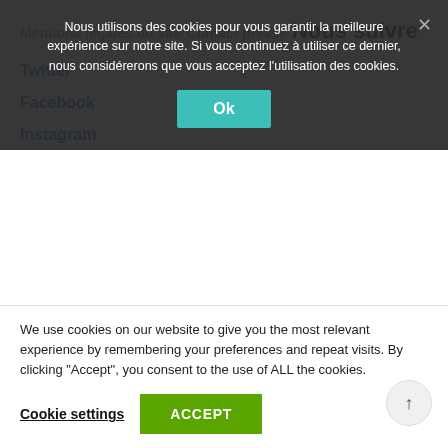Mentions légales du site
Contact presse
Nous suivre
Twitter
Facebook
Instagram
Nous utilisons des cookies pour vous garantir la meilleure expérience sur notre site. Si vous continuez à utiliser ce dernier, nous considérerons que vous acceptez l'utilisation des cookies.
We use cookies on our website to give you the most relevant experience by remembering your preferences and repeat visits. By clicking "Accept", you consent to the use of ALL the cookies.
Cookie settings
ACCEPT